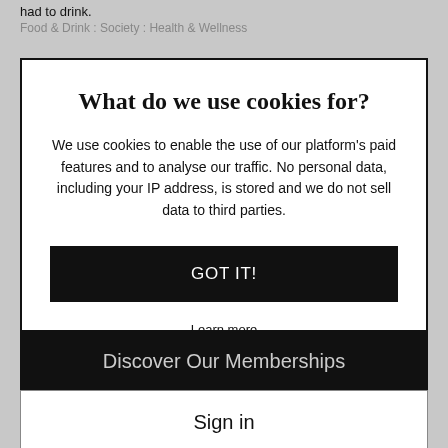had to drink.
Food & Drink : Society : Health & Wellness
What do we use cookies for?
We use cookies to enable the use of our platform's paid features and to analyse our traffic. No personal data, including your IP address, is stored and we do not sell data to third parties.
GOT IT!
Learn more
Discover Our Memberships
Sign in